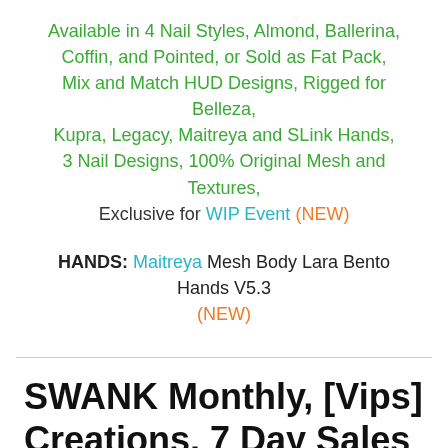Available in 4 Nail Styles, Almond, Ballerina, Coffin, and Pointed, or Sold as Fat Pack, Mix and Match HUD Designs, Rigged for Belleza, Kupra, Legacy, Maitreya and SLink Hands, 3 Nail Designs, 100% Original Mesh and Textures, Exclusive for WIP Event (NEW)
HANDS: Maitreya Mesh Body Lara Bento Hands V5.3 (NEW)
SWANK Monthly, [Vips] Creations, 7 Day Sales Event, 7 Deadly s[K]ins, Energy Sales